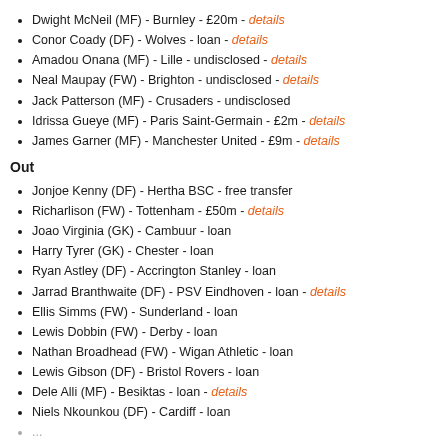Dwight McNeil (MF) - Burnley - £20m - details
Conor Coady (DF) - Wolves - loan - details
Amadou Onana (MF) - Lille - undisclosed - details
Neal Maupay (FW) - Brighton - undisclosed - details
Jack Patterson (MF) - Crusaders - undisclosed
Idrissa Gueye (MF) - Paris Saint-Germain - £2m - details
James Garner (MF) - Manchester United - £9m - details
Out
Jonjoe Kenny (DF) - Hertha BSC - free transfer
Richarlison (FW) - Tottenham - £50m - details
Joao Virginia (GK) - Cambuur - loan
Harry Tyrer (GK) - Chester - loan
Ryan Astley (DF) - Accrington Stanley - loan
Jarrad Branthwaite (DF) - PSV Eindhoven - loan - details
Ellis Simms (FW) - Sunderland - loan
Lewis Dobbin (FW) - Derby - loan
Nathan Broadhead (FW) - Wigan Athletic - loan
Lewis Gibson (DF) - Bristol Rovers - loan
Dele Alli (MF) - Besiktas - loan - details
Niels Nkounkou (DF) - Cardiff - loan
... Phillips (... (MF) - To be continued